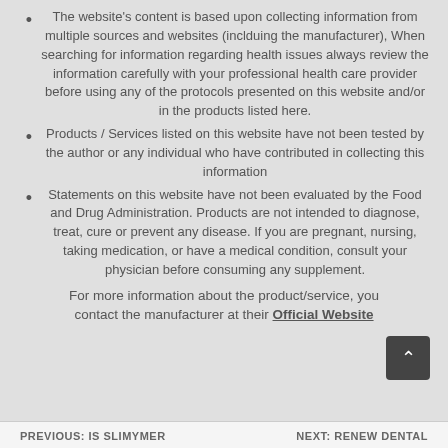The website's content is based upon collecting information from multiple sources and websites (inclduing the manufacturer), When searching for information regarding health issues always review the information carefully with your professional health care provider before using any of the protocols presented on this website and/or in the products listed here.
Products / Services listed on this website have not been tested by the author or any individual who have contributed in collecting this information
Statements on this website have not been evaluated by the Food and Drug Administration. Products are not intended to diagnose, treat, cure or prevent any disease. If you are pregnant, nursing, taking medication, or have a medical condition, consult your physician before consuming any supplement.
For more information about the product/service, you contact the manufacturer at their Official Website
PREVIOUS: IS SLIMYMER   NEXT: RENEW DENTAL